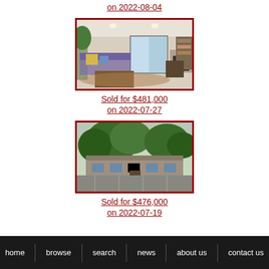on 2022-08-04
[Figure (photo): Interior living room photo of a home with couch, coffee table, fireplace, and sliding glass door to patio]
Sold for $481,000
on 2022-07-27
[Figure (photo): Exterior photo of a multi-unit residential building with large trees and parking lot in foreground]
Sold for $476,000
on 2022-07-19
home  browse  search  news  about us  contact us